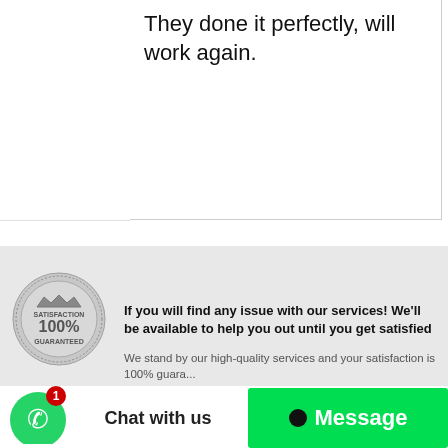They done it perfectly, will work again.
[Figure (illustration): Diamond/rhombus placeholder icon outline in light gray]
[Figure (logo): 100% Satisfaction Guaranteed silver badge/seal]
If you will find any issue with our services! We'll be available to help you out until you get satisfied
We stand by our high-quality services and your satisfaction is 100% guaranteed
[Figure (logo): WhatsApp icon button with notification badge showing 1]
Chat with us
Message